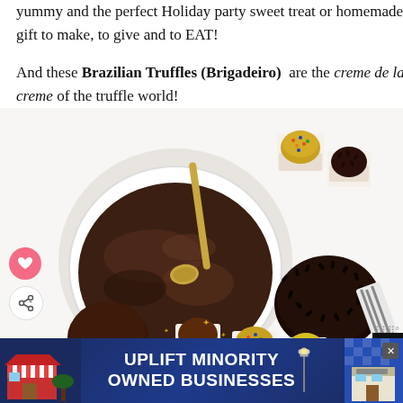yummy and the perfect Holiday party sweet treat or homemade gift to make, to give and to EAT!
And these Brazilian Truffles (Brigadeiro) are the creme de la creme of the truffle world!
[Figure (photo): Overhead view of chocolate brigadeiro truffles: a white bowl of glossy dark chocolate mixture with a gold spoon, small cupcake liners with chocolate and colorful sprinkled truffles, a large dark chocolate truffle covered in chocolate sprinkles, and decorative silverware on a white background. A pink heart button and share button appear on the left side. A 'What's Next - Pumpkin Spice...' recommendation appears at bottom left.]
[Figure (screenshot): Advertisement banner: dark blue background with illustrated store fronts on left and right, a lamp post icon, text reading 'UPLIFT MINORITY OWNED BUSINESSES' in large white bold letters, and an X close button in the top right corner.]